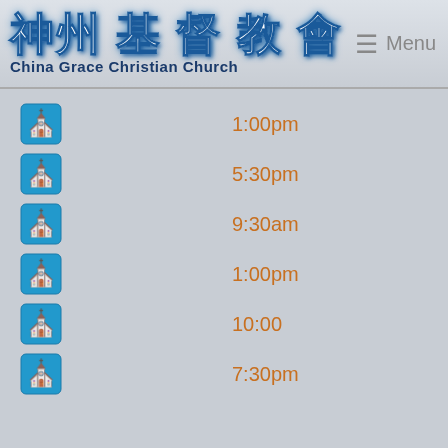神州基督教會 China Grace Christian Church  ≡ Menu
1:00pm
5:30pm
9:30am
1:00pm
10:00
7:30pm